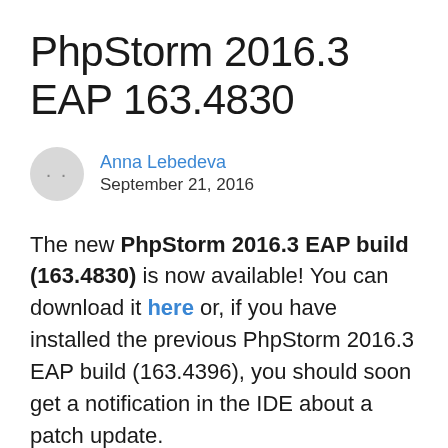PhpStorm 2016.3 EAP 163.4830
Anna Lebedeva
September 21, 2016
The new PhpStorm 2016.3 EAP build (163.4830) is now available! You can download it here or, if you have installed the previous PhpStorm 2016.3 EAP build (163.4396), you should soon get a notification in the IDE about a patch update.
This build delivers a set of features and bug fi…